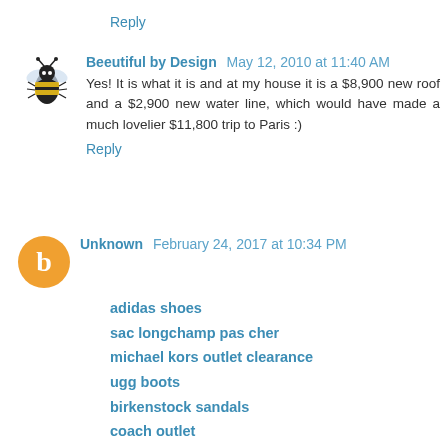Reply
Beeutiful by Design May 12, 2010 at 11:40 AM
Yes! It is what it is and at my house it is a $8,900 new roof and a $2,900 new water line, which would have made a much lovelier $11,800 trip to Paris :)
Reply
Unknown February 24, 2017 at 10:34 PM
adidas shoes
sac longchamp pas cher
michael kors outlet clearance
ugg boots
birkenstock sandals
coach outlet
fred perry
yeezy 350 boost
mont blanc
christian louboutin shoes